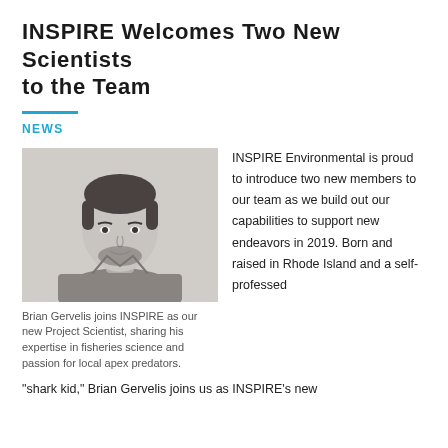INSPIRE Welcomes Two New Scientists to the Team
NEWS
[Figure (photo): Black and white headshot of Brian Gervelis, a man with dark hair and a beard wearing a polo shirt, smiling slightly against a light background.]
Brian Gervelis joins INSPIRE as our new Project Scientist, sharing his expertise in fisheries science and passion for local apex predators.
INSPIRE Environmental is proud to introduce two new members to our team as we build out our capabilities to support new endeavors in 2019. Born and raised in Rhode Island and a self-professed
"shark kid," Brian Gervelis joins us as INSPIRE's new